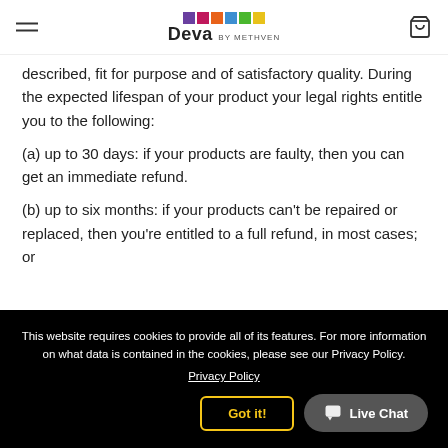Deva by METHVEN
described, fit for purpose and of satisfactory quality. During the expected lifespan of your product your legal rights entitle you to the following:
(a) up to 30 days: if your products are faulty, then you can get an immediate refund.
(b) up to six months: if your products can't be repaired or replaced, then you're entitled to a full refund, in most cases; or
This website requires cookies to provide all of its features. For more information on what data is contained in the cookies, please see our Privacy Policy.
Privacy Policy
Got it!
Live Chat